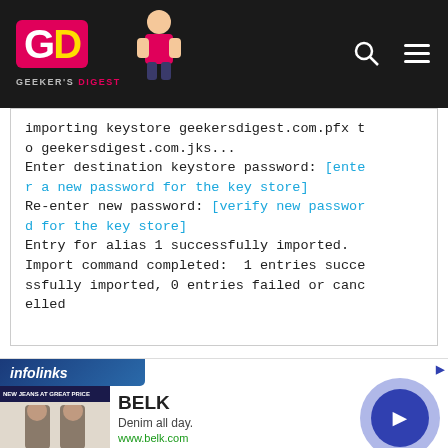[Figure (screenshot): Geeker's Digest website navigation bar with logo on dark background, search and menu icons]
importing keystore geekersdigest.com.pfx to geekersdigest.com.jks...
Enter destination keystore password: [enter a new password for the key store]
Re-enter new password: [verify new password for the key store]
Entry for alias 1 successfully imported.
Import command completed:  1 entries successfully imported, 0 entries failed or cancelled
[Figure (screenshot): Infolinks advertisement bar with BELK ad showing 'Denim all day.' and www.belk.com with a navigation arrow button]